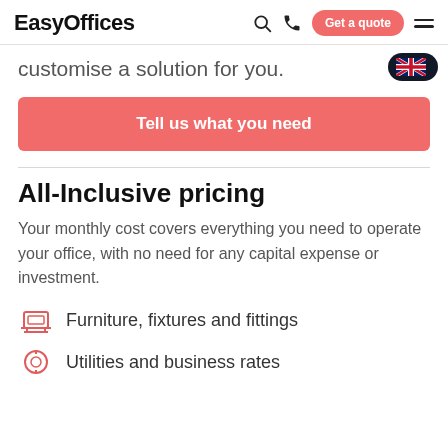EasyOffices — navigation with search, phone, Get a quote button, menu
customise a solution for you.
Tell us what you need
All-Inclusive pricing
Your monthly cost covers everything you need to operate your office, with no need for any capital expense or investment.
Furniture, fixtures and fittings
Utilities and business rates